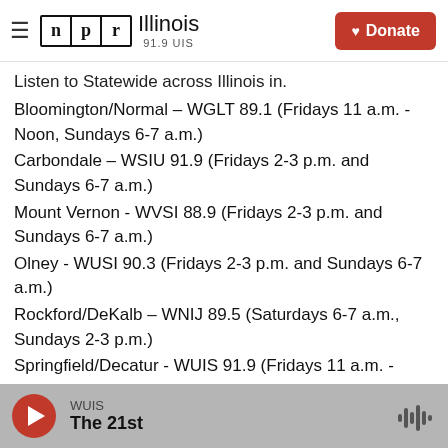NPR Illinois 91.9 UIS — Donate
Listen to Statewide across Illinois in.
Bloomington/Normal – WGLT 89.1 (Fridays 11 a.m. - Noon, Sundays 6-7 a.m.)
Carbondale – WSIU 91.9 (Fridays 2-3 p.m. and Sundays 6-7 a.m.)
Mount Vernon - WVSI 88.9 (Fridays 2-3 p.m. and Sundays 6-7 a.m.)
Olney - WUSI 90.3 (Fridays 2-3 p.m. and Sundays 6-7 a.m.)
Rockford/DeKalb – WNIJ 89.5 (Saturdays 6-7 a.m., Sundays 2-3 p.m.)
Springfield/Decatur - WUIS 91.9 (Fridays 11 a.m. -
WUIS — The 21st